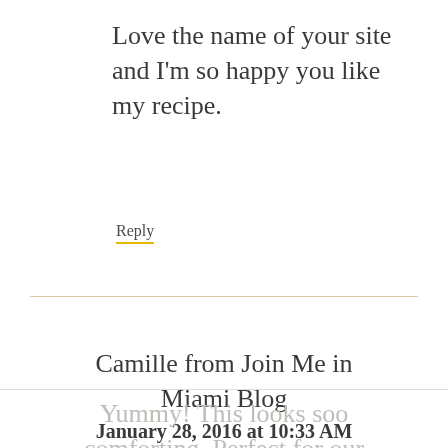Love the name of your site and I'm so happy you like my recipe.
Reply
Camille from Join Me in Miami Blog
January 28, 2016 at 10:33 AM
Yummy! This looks soo comforting. Perfect for our